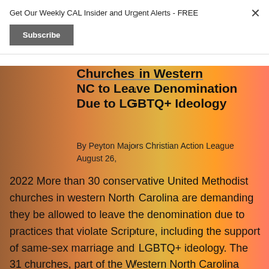Get Our Weekly CAL Insider and Urgent Alerts - FREE
Subscribe
Churches in Western NC to Leave Denomination Due to LGBTQ+ Ideology
By Peyton Majors Christian Action League August 26, 2022 More than 30 conservative United Methodist churches in western North Carolina are demanding they be allowed to leave the denomination due to practices that violate Scripture, including the support of same-sex marriage and LGBTQ+ ideology. The 31 churches, part of the Western North Carolina chapter of […]